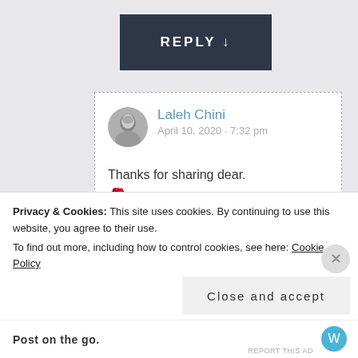REPLY ↓
Laleh Chini
April 10, 2020 · 7:32 pm
Thanks for sharing dear. 🌹
★ Liked by 1 person
Privacy & Cookies: This site uses cookies. By continuing to use this website, you agree to their use.
To find out more, including how to control cookies, see here: Cookie Policy
Close and accept
Post on the go.